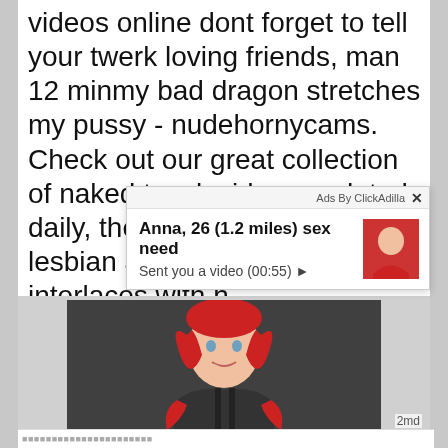videos online dont forget to tell your twerk loving friends, man 12 minmy bad dragon stretches my pussy - nudehornycams. Check out our great collection of naked twerk videos updated daily, they are quite versatile lesbian and solo action interlaces with h
[Figure (screenshot): Ad overlay from ClickAdilla showing 'Anna, 26 (1.2 miles) sex need' with 'Sent you a video (00:55)' and a thumbnail image of a woman in red lingerie]
[Figure (photo): Photo of a woman with red hair sitting in a car, wearing a black and red outfit]
2md